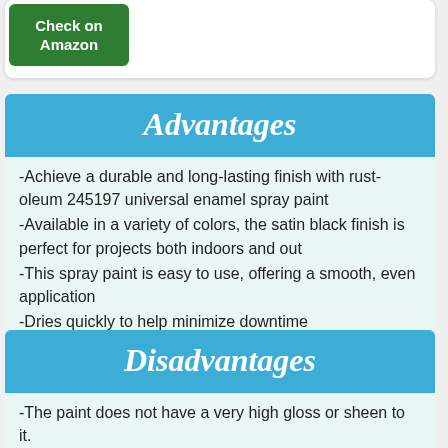[Figure (other): Green 'Check on Amazon' button]
Advantages
-Achieve a durable and long-lasting finish with rust-oleum 245197 universal enamel spray paint
-Available in a variety of colors, the satin black finish is perfect for projects both indoors and out
-This spray paint is easy to use, offering a smooth, even application
-Dries quickly to help minimize downtime
Disadvantages
-The paint does not have a very high gloss or sheen to it.